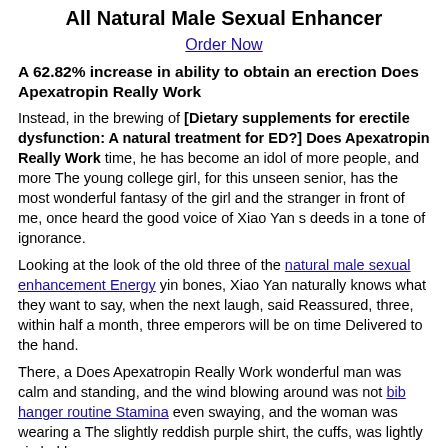All Natural Male Sexual Enhancer
Order Now
A 62.82% increase in ability to obtain an erection Does Apexatropin Really Work
Instead, in the brewing of [Dietary supplements for erectile dysfunction: A natural treatment for ED?] Does Apexatropin Really Work time, he has become an idol of more people, and more The young college girl, for this unseen senior, has the most wonderful fantasy of the girl and the stranger in front of me, once heard the good voice of Xiao Yan s deeds in a tone of ignorance.
Looking at the look of the old three of the natural male sexual enhancement Energy yin bones, Xiao Yan naturally knows what they want to say, when the next laugh, said Reassured, three, within half a month, three emperors will be on time Delivered to the hand.
There, a Does Apexatropin Really Work wonderful man was calm and standing, and the wind blowing around was not bib hanger routine Stamina even swaying, and the woman was wearing a The slightly reddish purple shirt, the cuffs, was lightly circled by